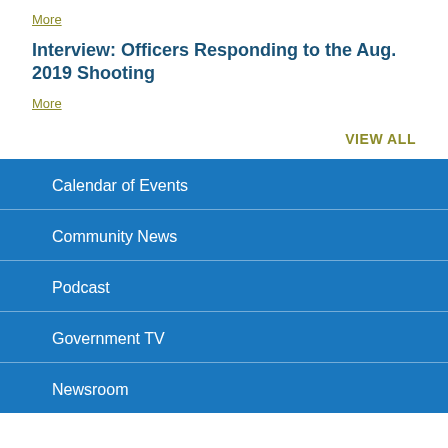More
Interview: Officers Responding to the Aug. 2019 Shooting
More
VIEW ALL
Calendar of Events
Community News
Podcast
Government TV
Newsroom